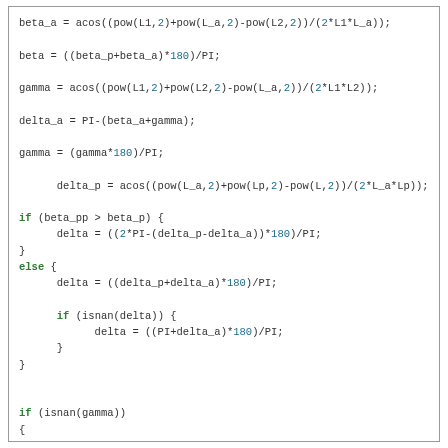Code snippet showing inverse kinematics calculations in C++ including beta_a, beta, gamma, delta_a, gamma, delta_p, conditional if/else blocks, isnan checks, and servo position assignments.